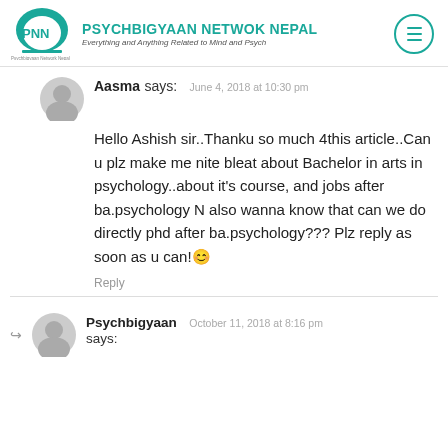PSYCHBIGYAAN NETWOK NEPAL — Everything and Anything Related to Mind and Psych
Aasma says: June 4, 2018 at 10:30 pm
Hello Ashish sir..Thanku so much 4this article..Can u plz make me nite bleat about Bachelor in arts in psychology..about it's course, and jobs after ba.psychology N also wanna know that can we do directly phd after ba.psychology??? Plz reply as soon as u can!😊
Reply
Psychbigyaan says: October 11, 2018 at 8:16 pm